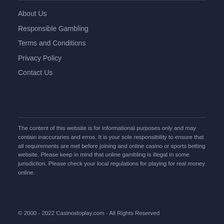About Us
Responsible Gambling
Terms and Conditions
Privacy Policy
Contact Us
The content of this website is for informational purposes only and may contain inaccuraries and erros. It is your sole responsibility to ensure that all requirements are met before joining and online casino or sports betting website. Please keep in mind that online gambling is illegal in some jurisdiction. Please check your local regulations for playing for real money online.
© 2000 - 2022 Casinostoplay.com - All Rights Reserved